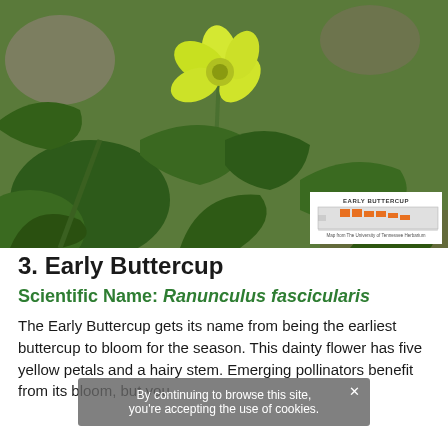[Figure (photo): Close-up photograph of an Early Buttercup flower with bright yellow petals surrounded by green lobed leaves and rocky background]
3. Early Buttercup
Scientific Name: Ranunculus fascicularis
The Early Buttercup gets its name from being the earliest buttercup to bloom for the season. This dainty flower has five yellow petals and a hairy stem. Emerging pollinators benefit from its bloom, but you